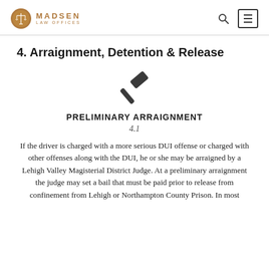MADSEN LAW OFFICES
4. Arraignment, Detention & Release
[Figure (illustration): A gavel/hammer icon in dark gray]
PRELIMINARY ARRAIGNMENT
4.1
If the driver is charged with a more serious DUI offense or charged with other offenses along with the DUI, he or she may be arraigned by a Lehigh Valley Magisterial District Judge. At a preliminary arraignment the judge may set a bail that must be paid prior to release from confinement from Lehigh or Northampton County Prison. In most